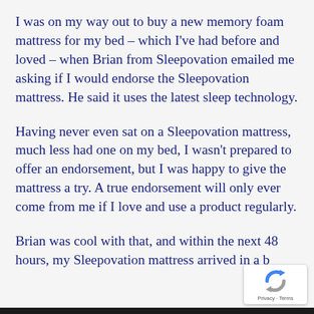I was on my way out to buy a new memory foam mattress for my bed – which I've had before and loved – when Brian from Sleepovation emailed me asking if I would endorse the Sleepovation mattress. He said it uses the latest sleep technology.
Having never even sat on a Sleepovation mattress, much less had one on my bed, I wasn't prepared to offer an endorsement, but I was happy to give the mattress a try. A true endorsement will only ever come from me if I love and use a product regularly.
Brian was cool with that, and within the next 48 hours, my Sleepovation mattress arrived in a b